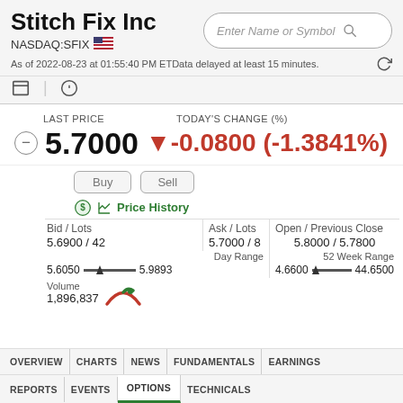Stitch Fix Inc
NASDAQ:SFIX
As of 2022-08-23 at 01:55:40 PM ET Data delayed at least 15 minutes.
LAST PRICE
5.7000
TODAY'S CHANGE (%)
-0.0800 (-1.3841%)
Bid / Lots: 5.6900 / 42
Ask / Lots: 5.7000 / 8
Open / Previous Close: 5.8000 / 5.7800
Day Range: 5.6050 - 5.9893
52 Week Range: 4.6600 - 44.6500
Volume: 1,896,837
OVERVIEW | CHARTS | NEWS | FUNDAMENTALS | EARNINGS
REPORTS | EVENTS | OPTIONS | TECHNICALS